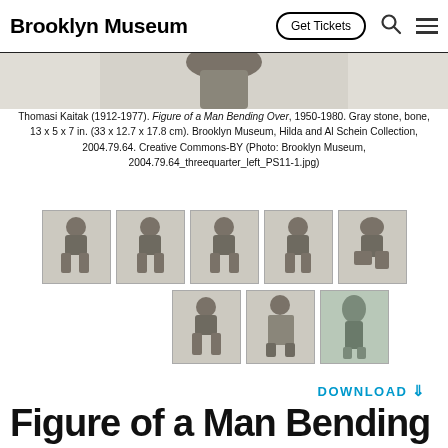Brooklyn Museum — Get Tickets
[Figure (photo): Top portion of a gray stone sculpture of a man bending over, partially cropped]
Thomasi Kaitak (1912-1977). Figure of a Man Bending Over, 1950-1980. Gray stone, bone, 13 x 5 x 7 in. (33 x 12.7 x 17.8 cm). Brooklyn Museum, Hilda and Al Schein Collection, 2004.79.64. Creative Commons-BY (Photo: Brooklyn Museum, 2004.79.64_threequarter_left_PS11-1.jpg)
[Figure (photo): Row of 5 thumbnail photos of the sculpture from different angles]
[Figure (photo): Row of 3 thumbnail photos of the sculpture from different angles]
DOWNLOAD ⇓
Figure of a Man Bending